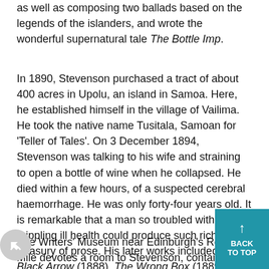as well as composing two ballads based on the legends of the islanders, and wrote the wonderful supernatural tale The Bottle Imp.
In 1890, Stevenson purchased a tract of about 400 acres in Upolu, an island in Samoa. Here, he established himself in the village of Vailima. He took the native name Tusitala, Samoan for 'Teller of Tales'. On 3 December 1894, Stevenson was talking to his wife and straining to open a bottle of wine when he collapsed. He died within a few hours, of a suspected cerebral haemorrhage. He was only forty-four years old. It is remarkable that a man so troubled with crippling ill health could produce such rich treasury of prose. His later works included The Black Arrow (1888), The Wrong Box (1889), The Wrecker (1892) and The Weir of Heriston (1896).
The Writers' Museum near Edinburgh's Royal Mile devotes a room to Stevenson, containing some of his personal possessions from childhood through to adulthood. Another memorial in Edinburgh stands in West Princes Street Gardens below Edinburgh Castle; it is a simple